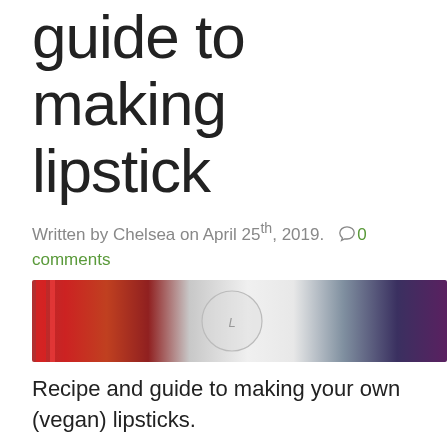guide to making lipstick
Written by Chelsea on April 25th, 2019.  0 comments
[Figure (photo): Photo of lipstick making ingredients including a jar of red pigment and lipstick tubes]
Recipe and guide to making your own (vegan) lipsticks.